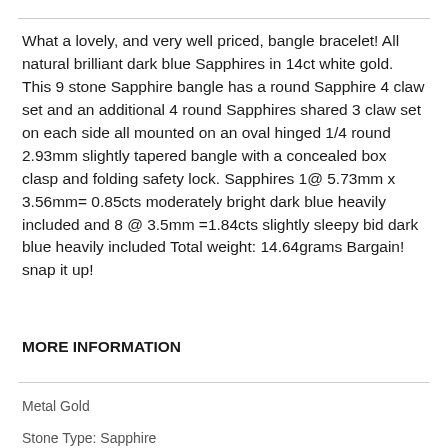What a lovely, and very well priced, bangle bracelet! All natural brilliant dark blue Sapphires in 14ct white gold. This 9 stone Sapphire bangle has a round Sapphire 4 claw set and an additional 4 round Sapphires shared 3 claw set on each side all mounted on an oval hinged 1/4 round 2.93mm slightly tapered bangle with a concealed box clasp and folding safety lock. Sapphires 1@ 5.73mm x 3.56mm= 0.85cts moderately bright dark blue heavily included and 8 @ 3.5mm =1.84cts slightly sleepy bid dark blue heavily included Total weight: 14.64grams Bargain! snap it up!
MORE INFORMATION
Metal Gold
Stone Type: Sapphire